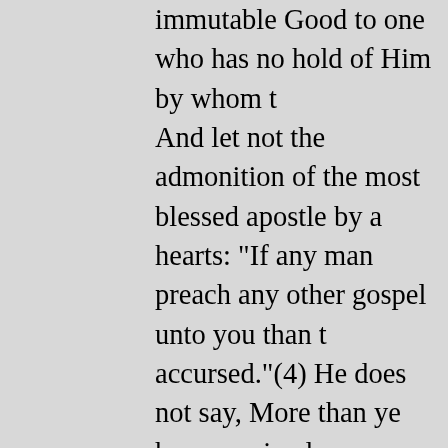immutable Good to one who has no hold of Him by whom t And let not the admonition of the most blessed apostle by a hearts: "If any man preach any other gospel unto you than t accursed."(4) He does not say, More than ye have received; received." For had he said the former, he would be prejudgi desired to come to the Thessalonians to supply what was la supplies, adds to what was deficient, without taking away w transgresses the rule of faith, is not progressing in the way,
8. Accordingly, when the Lord says, "I have yet many thing bear them now," He means that what they were still ignoran supplied to them, and not that what they had already learne indeed, as I have already shown in a former discourse, coul things which He had taught them, had He wished to unfold as they are conceived in regard to Him by the angels, their s would be unable to bear. But any spiritual man may teach a provided the Holy Spirit grant him an enlarged capacity for teacher himself may get some further increase, in order that Although even among the spiritual themselves there are son capacity and in a better condition than others; so that one o which it is not lawful for a man to speak. Taking advantage vain individuals, who, with a presumption that betrays the g Revelation of Paul, crammed with all manner of fables, whi orthodox Church; affirming it to be that whereof he had sai third heavens, and there heard unspeakable words "which it utter."(2) Nevertheless, the audacity of such might be toler